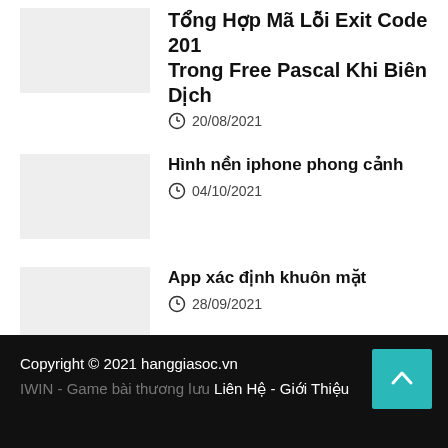Tổng Hợp Mã Lỗi Exit Code 201 Trong Free Pascal Khi Biên Dịch
20/08/2021
Hình nền iphone phong cảnh
04/10/2021
App xác định khuôn mặt
28/09/2021
Copyright © 2021 hanggiasoc.vn
IWIN - Game bài thương lưu Liên Hệ - Giới Thiệu